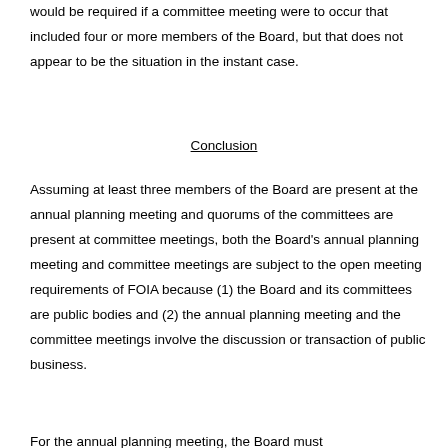would be required if a committee meeting were to occur that included four or more members of the Board, but that does not appear to be the situation in the instant case.
Conclusion
Assuming at least three members of the Board are present at the annual planning meeting and quorums of the committees are present at committee meetings, both the Board’s annual planning meeting and committee meetings are subject to the open meeting requirements of FOIA because (1) the Board and its committees are public bodies and (2) the annual planning meeting and the committee meetings involve the discussion or transaction of public business.
For the annual planning meeting, the Board must